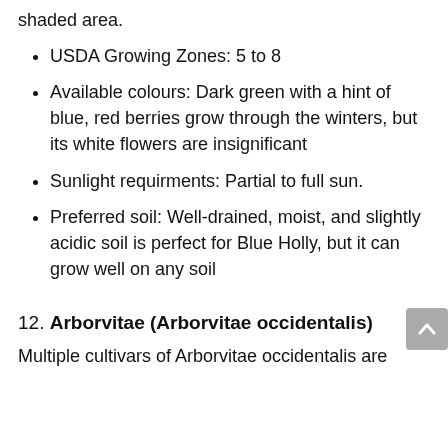shaded area.
USDA Growing Zones: 5 to 8
Available colours: Dark green with a hint of blue, red berries grow through the winters, but its white flowers are insignificant
Sunlight requirments: Partial to full sun.
Preferred soil: Well-drained, moist, and slightly acidic soil is perfect for Blue Holly, but it can grow well on any soil
12. Arborvitae (Arborvitae occidentalis)
Multiple cultivars of Arborvitae occidentalis are